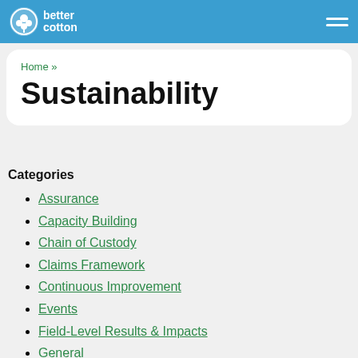Better Cotton
Home »
Sustainability
Categories
Assurance
Capacity Building
Chain of Custody
Claims Framework
Continuous Improvement
Events
Field-Level Results & Impacts
General
Governance
Growth and Innovation Fund
Innovation Challenge